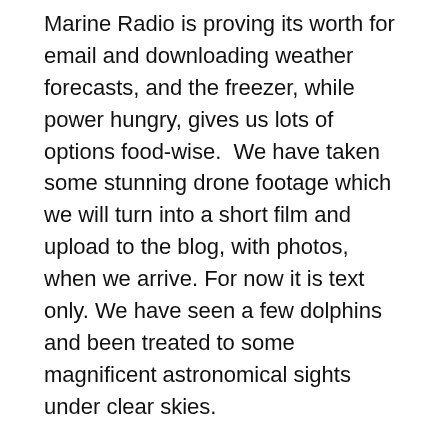Marine Radio is proving its worth for email and downloading weather forecasts, and the freezer, while power hungry, gives us lots of options food-wise.  We have taken some stunning drone footage which we will turn into a short film and upload to the blog, with photos, when we arrive. For now it is text only. We have seen a few dolphins and been treated to some magnificent astronomical sights under clear skies.
We hope to be off La Coruna Friday night or Saturday morning (19th / 20th July) and from there it is 600 NM to Porto Santo, a small island just north-east of Madeira, so another four days at least, with arrival around 25th / 26th July.